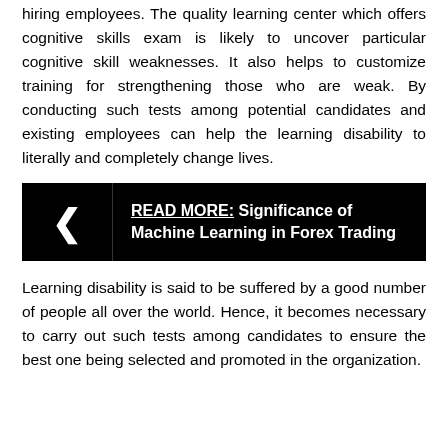hiring employees. The quality learning center which offers cognitive skills exam is likely to uncover particular cognitive skill weaknesses. It also helps to customize training for strengthening those who are weak. By conducting such tests among potential candidates and existing employees can help the learning disability to literally and completely change lives.
[Figure (other): Black banner with left arrow icon and text: READ MORE: Significance of Machine Learning in Forex Trading]
Learning disability is said to be suffered by a good number of people all over the world. Hence, it becomes necessary to carry out such tests among candidates to ensure the best one being selected and promoted in the organization.